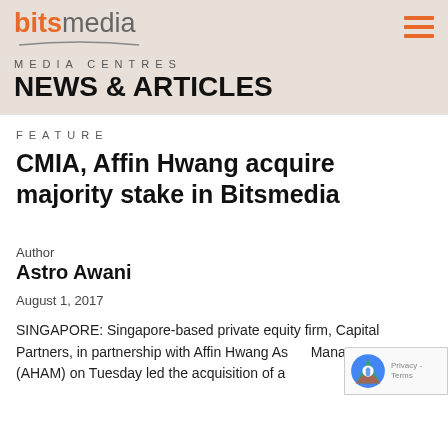bitsmedia
MEDIA CENTRES
NEWS & ARTICLES
FEATURE
CMIA, Affin Hwang acquire majority stake in Bitsmedia
Author
Astro Awani
August 1, 2017
SINGAPORE: Singapore-based private equity firm, Capital Partners, in partnership with Affin Hwang Asset Management (AHAM) on Tuesday led the acquisition of a